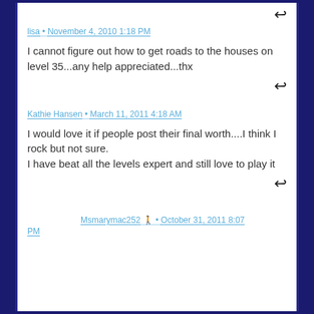↵ (reply icon)
lisa • November 4, 2010 1:18 PM
I cannot figure out how to get roads to the houses on level 35...any help appreciated...thx
↵ (reply icon)
Kathie Hansen • March 11, 2011 4:18 AM
I would love it if people post their final worth....I think I rock but not sure.
I have beat all the levels expert and still love to play it
↵ (reply icon)
Msmarymac252 🔱 • October 31, 2011 8:07 PM